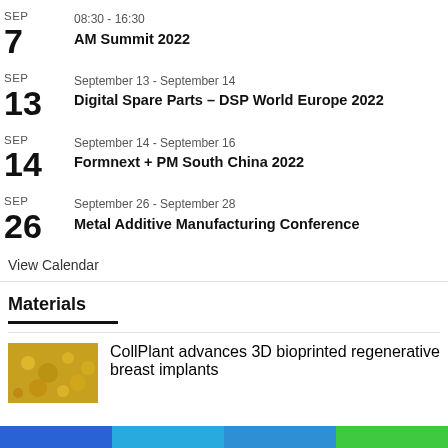SEP 7 | 08:30 - 16:30 | AM Summit 2022
SEP 13 | September 13 - September 14 | Digital Spare Parts – DSP World Europe 2022
SEP 14 | September 14 - September 16 | Formnext + PM South China 2022
SEP 26 | September 26 - September 28 | Metal Additive Manufacturing Conference
View Calendar
Materials
CollPlant advances 3D bioprinted regenerative breast implants